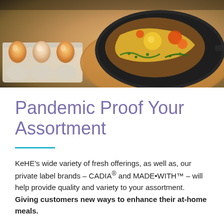[Figure (photo): Food photo showing eggs in a carton on the left and a cast iron skillet with scrambled eggs and vegetables on a wooden cutting board on the right]
Pandemic Proof Your Assortment
KeHE's wide variety of fresh offerings, as well as, our private label brands – CADIA® and MADE•WITH™ – will help provide quality and variety to your assortment. Giving customers new ways to enhance their at-home meals.